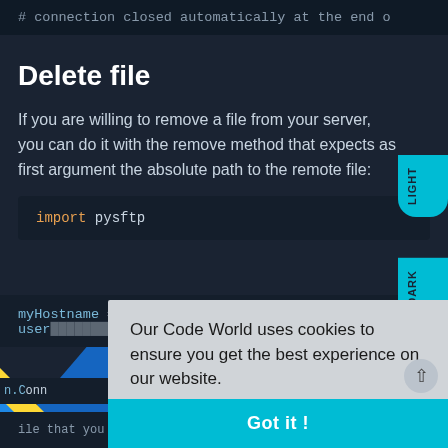# connection closed automatically at the end o
Delete file
If you are willing to remove a file from your server, you can do it with the remove method that expects as first argument the absolute path to the remote file:
import pysftp
myHostname = "yourserverdomainorip.com"
userName...
n.Connection(host=myHostname, ...rna
nnection successfully stabi...
ile that you want to upload...
Our Code World uses cookies to ensure you get the best experience on our website.
Learn more
Got it !